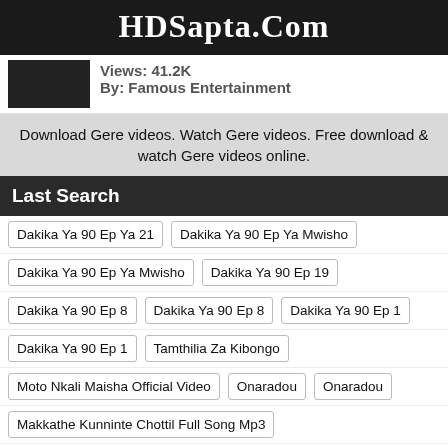HDSapta.Com
Views: 41.2K
By: Famous Entertainment
Download Gere videos. Watch Gere videos. Free download & watch Gere videos online.
Last Search
Dakika Ya 90 Ep Ya 21
Dakika Ya 90 Ep Ya Mwisho
Dakika Ya 90 Ep Ya Mwisho
Dakika Ya 90 Ep 19
Dakika Ya 90 Ep 8
Dakika Ya 90 Ep 8
Dakika Ya 90 Ep 1
Dakika Ya 90 Ep 1
Tamthilia Za Kibongo
Moto Nkali Maisha Official Video
Onaradou
Onaradou
Makkathe Kunninte Chottil Full Song Mp3
Matyas And Jòj Fich Bolet La
Tumaloia Monot Song Video Status Dawnload
Extended Nalwawo Sheebah Official Video New Ugandan Music 2020
Vợ Chủ Tịch Về Quê
Vợ Chủ Tịch ủng Hộ Lũ Lụt
Vợ Chủ Tịch
Vợ Chủ Tịch Lon Anh